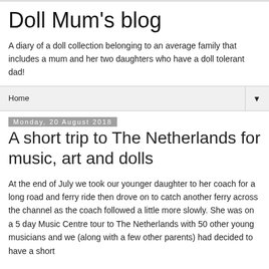Doll Mum's blog
A diary of a doll collection belonging to an average family that includes a mum and her two daughters who have a doll tolerant dad!
Home ▼
Monday, 20 August 2018
A short trip to The Netherlands for music, art and dolls
At the end of July we took our younger daughter to her coach for a long road and ferry ride then drove on to catch another ferry across the channel as the coach followed a little more slowly. She was on a 5 day Music Centre tour to The Netherlands with 50 other young musicians and we (along with a few other parents) had decided to have a short